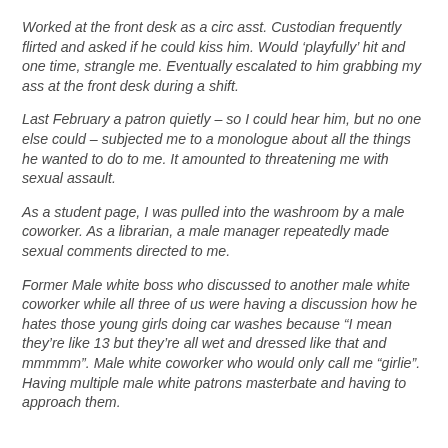Worked at the front desk as a circ asst. Custodian frequently flirted and asked if he could kiss him. Would ‘playfully’ hit and one time, strangle me. Eventually escalated to him grabbing my ass at the front desk during a shift.
Last February a patron quietly – so I could hear him, but no one else could – subjected me to a monologue about all the things he wanted to do to me. It amounted to threatening me with sexual assault.
As a student page, I was pulled into the washroom by a male coworker. As a librarian, a male manager repeatedly made sexual comments directed to me.
Former Male white boss who discussed to another male white coworker while all three of us were having a discussion how he hates those young girls doing car washes because “I mean they’re like 13 but they’re all wet and dressed like that and mmmmm”. Male white coworker who would only call me “girlie”. Having multiple male white patrons masterbate and having to approach them.